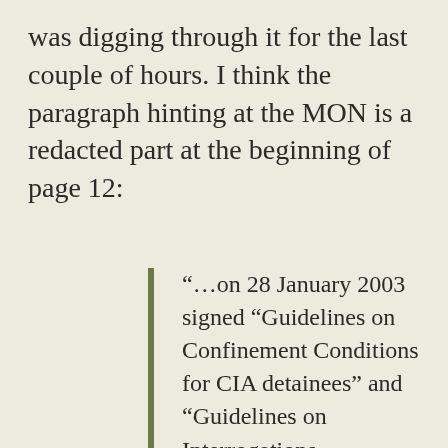was digging through it for the last couple of hours. I think the paragraph hinting at the MON is a redacted part at the beginning of page 12:
“…on 28 January 2003 signed “Guidelines on Confinement Conditions for CIA detainees” and “Guidelines on Interrogations Conducted Pursuant [redacted sentence – the MON?] The DCI Guidelines require individuals engaged in or supporting interrogations [redacted sentence – the MON again?] be made aware of the guidelines and sign an